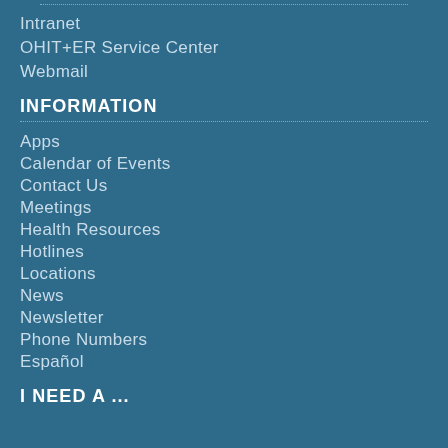Intranet
OHIT+ER Service Center
Webmail
INFORMATION
Apps
Calendar of Events
Contact Us
Meetings
Health Resources
Hotlines
Locations
News
Newsletter
Phone Numbers
Español
I NEED A ...